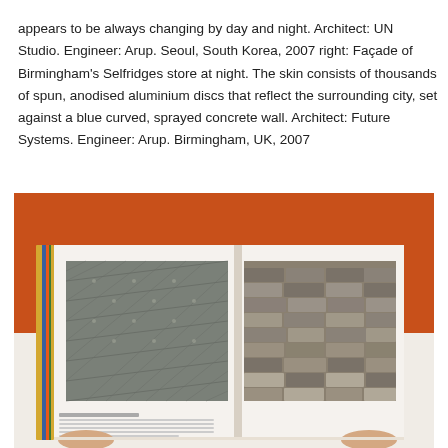appears to be always changing by day and night. Architect: UN Studio. Engineer: Arup. Seoul, South Korea, 2007 right: Façade of Birmingham's Selfridges store at night. The skin consists of thousands of spun, anodised aluminium discs that reflect the surrounding city, set against a blue curved, sprayed concrete wall. Architect: Future Systems. Engineer: Arup. Birmingham, UK, 2007
[Figure (photo): A person in an orange top holding open a large book, showing a spread with two close-up architectural facade photographs: left shows a diamond/pyramid pattern facade detail, right shows overlapping shingle or tile facade detail.]